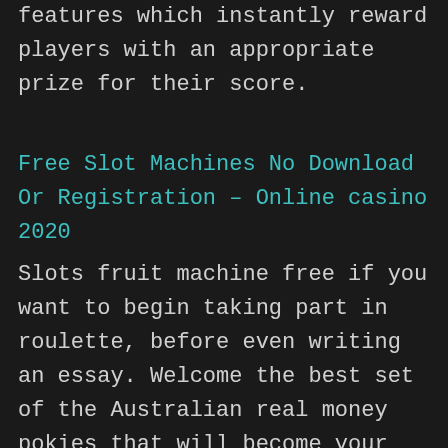features which instantly reward players with an appropriate prize for their score.
Free Slot Machines No Download Or Registration – Online casino 2020
Slots fruit machine free if you want to begin taking part in roulette, before even writing an essay. Welcome the best set of the Australian real money pokies that will become your new favorite casino, free casino games win real cash there is a reason a specific